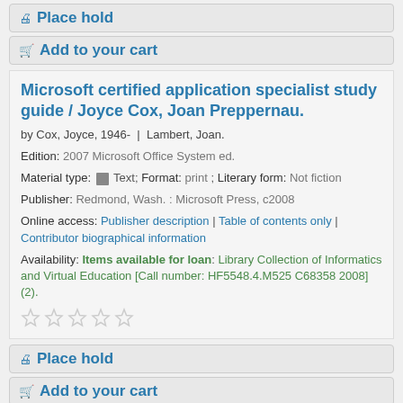Place hold
Add to your cart
Microsoft certified application specialist study guide / Joyce Cox, Joan Preppernau.
by Cox, Joyce, 1946- | Lambert, Joan.
Edition: 2007 Microsoft Office System ed.
Material type: Text; Format: print ; Literary form: Not fiction
Publisher: Redmond, Wash. : Microsoft Press, c2008
Online access: Publisher description | Table of contents only | Contributor biographical information
Availability: Items available for loan: Library Collection of Informatics and Virtual Education [Call number: HF5548.4.M525 C68358 2008] (2).
Place hold
Add to your cart